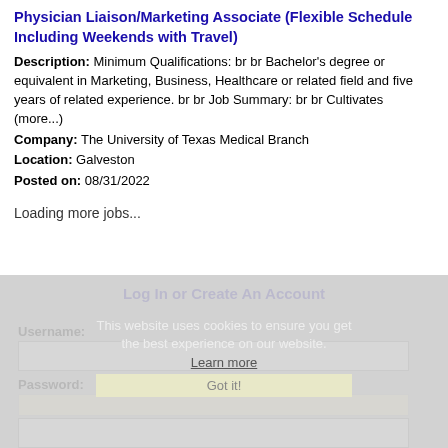Physician Liaison/Marketing Associate (Flexible Schedule Including Weekends with Travel)
Description: Minimum Qualifications: br br Bachelor's degree or equivalent in Marketing, Business, Healthcare or related field and five years of related experience. br br Job Summary: br br Cultivates (more...)
Company: The University of Texas Medical Branch
Location: Galveston
Posted on: 08/31/2022
Loading more jobs...
Log In or Create An Account
This website uses cookies to ensure you get the best experience on our website.
Learn more
Got it!
Username:
Password: